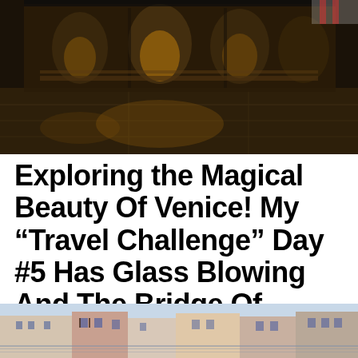[Figure (photo): Night photo of Venice with reflections of ornate architecture on wet pavement, dark warm-toned image of a grand building with arches reflected in flooded square]
Exploring the Magical Beauty Of Venice! My “Travel Challenge” Day #5 Has Glass Blowing And The Bridge Of Sighs!
[Figure (photo): Daytime photo of Venice canal with colorful historic buildings along the waterway, pink and beige facades visible]